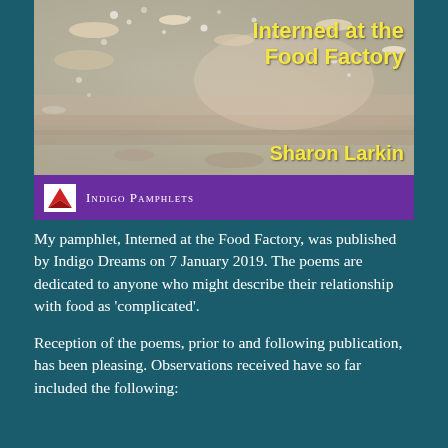[Figure (illustration): Book cover for 'Interned at the Food Factory' by Sharon Larkin, published by Indigo Pamphlets. The cover features a close-up photographic background in warm beige/peach tones with a textured, splattered appearance. The title 'Interned at the Food Factory' and author name 'Sharon Larkin' appear in bold yellow text. A purple banner at the bottom displays the Indigo Pamphlets logo and name.]
My pamphlet, Interned at the Food Factory, was published by Indigo Dreams on 7 January 2019. The poems are dedicated to anyone who might describe their relationship with food as 'complicated'.
Reception of the poems, prior to and following publication, has been pleasing. Observations received have so far included the following: